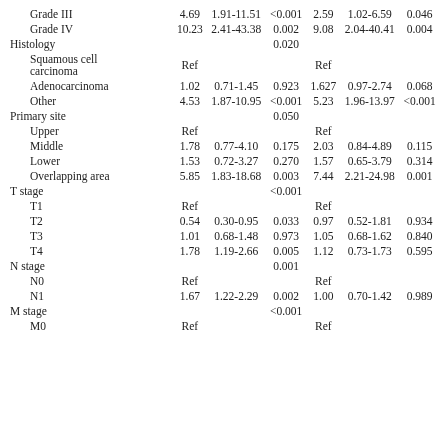| Variable | HR | 95% CI | p | HR | 95% CI | p |
| --- | --- | --- | --- | --- | --- | --- |
| Grade III | 4.69 | 1.91-11.51 | <0.001 | 2.59 | 1.02-6.59 | 0.046 |
| Grade IV | 10.23 | 2.41-43.38 | 0.002 | 9.08 | 2.04-40.41 | 0.004 |
| Histology |  |  | 0.020 |  |  |  |
| Squamous cell carcinoma | Ref |  |  | Ref |  |  |
| Adenocarcinoma | 1.02 | 0.71-1.45 | 0.923 | 1.627 | 0.97-2.74 | 0.068 |
| Other | 4.53 | 1.87-10.95 | <0.001 | 5.23 | 1.96-13.97 | <0.001 |
| Primary site |  |  | 0.050 |  |  |  |
| Upper | Ref |  |  | Ref |  |  |
| Middle | 1.78 | 0.77-4.10 | 0.175 | 2.03 | 0.84-4.89 | 0.115 |
| Lower | 1.53 | 0.72-3.27 | 0.270 | 1.57 | 0.65-3.79 | 0.314 |
| Overlapping area | 5.85 | 1.83-18.68 | 0.003 | 7.44 | 2.21-24.98 | 0.001 |
| T stage |  |  | <0.001 |  |  |  |
| T1 | Ref |  |  | Ref |  |  |
| T2 | 0.54 | 0.30-0.95 | 0.033 | 0.97 | 0.52-1.81 | 0.934 |
| T3 | 1.01 | 0.68-1.48 | 0.973 | 1.05 | 0.68-1.62 | 0.840 |
| T4 | 1.78 | 1.19-2.66 | 0.005 | 1.12 | 0.73-1.73 | 0.595 |
| N stage |  |  | 0.001 |  |  |  |
| N0 | Ref |  |  | Ref |  |  |
| N1 | 1.67 | 1.22-2.29 | 0.002 | 1.00 | 0.70-1.42 | 0.989 |
| M stage |  |  | <0.001 |  |  |  |
| M0 | Ref |  |  | Ref |  |  |